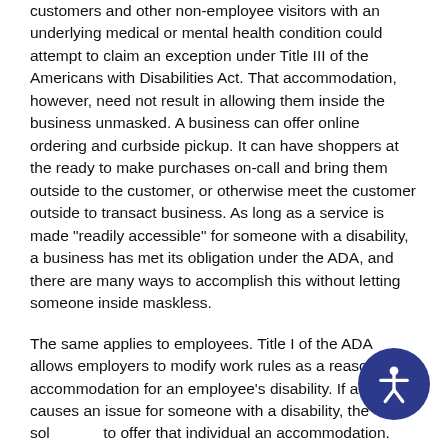customers and other non-employee visitors with an underlying medical or mental health condition could attempt to claim an exception under Title III of the Americans with Disabilities Act. That accommodation, however, need not result in allowing them inside the business unmasked. A business can offer online ordering and curbside pickup. It can have shoppers at the ready to make purchases on-call and bring them outside to the customer, or otherwise meet the customer outside to transact business. As long as a service is made "readily accessible" for someone with a disability, a business has met its obligation under the ADA, and there are many ways to accomplish this without letting someone inside maskless.
The same applies to employees. Title I of the ADA allows employers to modify work rules as a reasonable accommodation for an employee's disability. If a ma... causes an issue for someone with a disability, the so... to offer that individual an accommodation. Perhaps the...